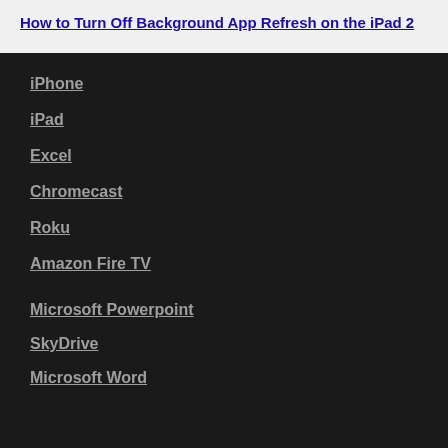How to Turn Off Background App Refresh on the iPad 2
iPhone
iPad
Excel
Chromecast
Roku
Amazon Fire TV
Microsoft Powerpoint
SkyDrive
Microsoft Word